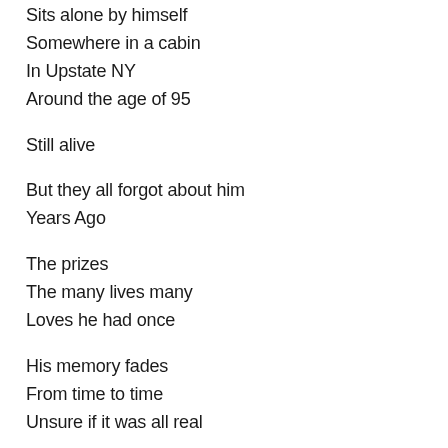Sits alone by himself
Somewhere in a cabin
In Upstate NY
Around the age of 95
Still alive
But they all forgot about him
Years Ago
The prizes
The many lives many
Loves he had once
His memory fades
From time to time
Unsure if it was all real
Meeting Kerouac